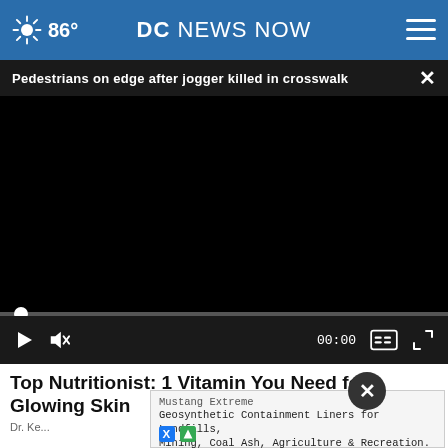86° DC NEWS NOW
Pedestrians on edge after jogger killed in crosswalk
[Figure (screenshot): Video player showing a black/dark video frame with playback controls: play button, mute button, timestamp 00:00, captions and fullscreen icons. A scrubber bar with a white dot is at the left side.]
Top Nutritionist: 1 Vitamin You Need for Glowing Skin
Dr. Ke...
Mustang Extreme
Geosynthetic Containment Liners for Landfills, Mining, Coal Ash, Agriculture & Recreation.